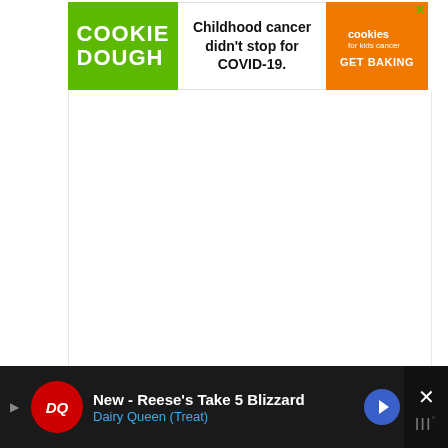[Figure (infographic): Cookie Dough for Kids Cancer advertisement banner. Green left panel with 'COOKIE DOUGH' text, white middle panel with 'Childhood cancer didn't stop for COVID-19.' text, orange right panel with cookies for kids cancer logo and 'GET BAKING' call to action.]
Austria
[Figure (infographic): Dairy Queen advertisement at bottom. Dark background with DQ logo, 'New - Reese's Take 5 Blizzard' headline, 'Dairy Queen (Treat)' subtitle, navigation arrow icon, and close X button with weather widget icon.]